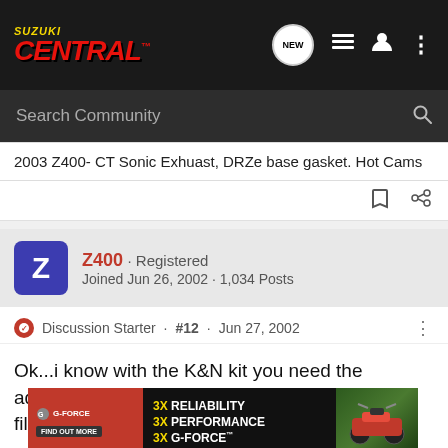Suzuki Central
Search Community
2003 Z400- CT Sonic Exhuast, DRZe base gasket. Hot Cams
Z400 · Registered
Joined Jun 26, 2002 · 1,034 Posts
Discussion Starter · #12 · Jun 27, 2002
Ok...i know with the K&N kit you need the adapter...do you need the adapter for the other filters?
[Figure (screenshot): G-Force advertisement banner: 3X RELIABILITY, 3X PERFORMANCE, 3X G-FORCE with ATV image]